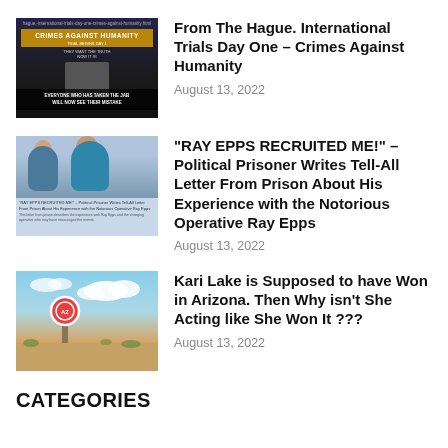[Figure (photo): Thumbnail for Hague article: dark background with 'CRIMES AGAINST HUMANITY' text overlay and a figure]
From The Hague. International Trials Day One – Crimes Against Humanity
August 13, 2022
[Figure (photo): Thumbnail showing two people, with article text caption below]
“RAY EPPS RECRUITED ME!” – Political Prisoner Writes Tell-All Letter From Prison About His Experience with the Notorious Operative Ray Epps
August 13, 2022
[Figure (photo): Thumbnail showing Arizona desert landscape with a welcome sign post and blue sky with clouds]
Kari Lake is Supposed to have Won in Arizona. Then Why isn’t She Acting like She Won It ???
August 13, 2022
CATEGORIES